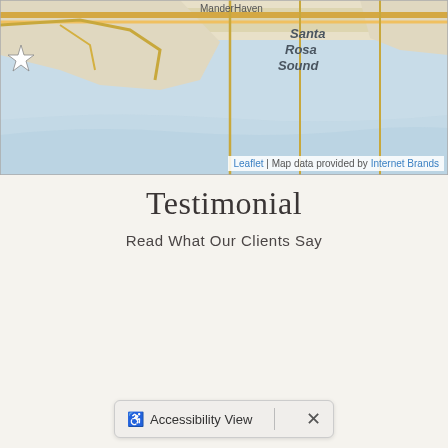[Figure (map): A street/waterway map showing Santa Rosa Sound with tan/orange road lines and light blue water. Labels include 'Santa Rosa Sound' in dark text and 'ManderHaven' partially visible at top. A star marker is visible on the left side. Map attribution shows 'Leaflet | Map data provided by Internet Brands'.]
Testimonial
Read What Our Clients Say
♿ Accessibility View ×